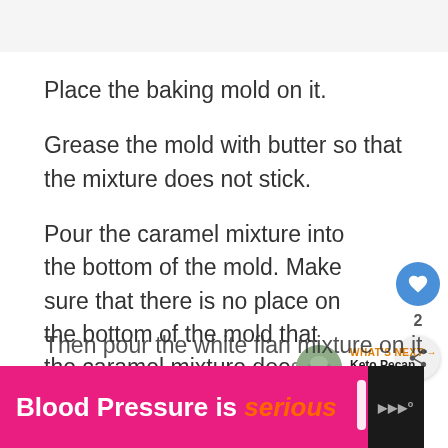[Figure (screenshot): Gray top area, partial screenshot of a recipe web page]
Place the baking mold on it.
Grease the mold with butter so that the mixture does not stick.
Pour the caramel mixture into the bottom of the mold. Make sure that there is no place on the bottom of the mold that the caramel mixture does not come into contact with.
Now pour the chocolate mixture on it.
Then pour the white flan mixture on it.
[Figure (infographic): What's Next panel with circular thumbnail image and text 'Keto Pecan Pralines...']
[Figure (infographic): Bottom advertisement banner: 'Blood Pressure is serious' in pink/orange on hot-pink background with logo icon]